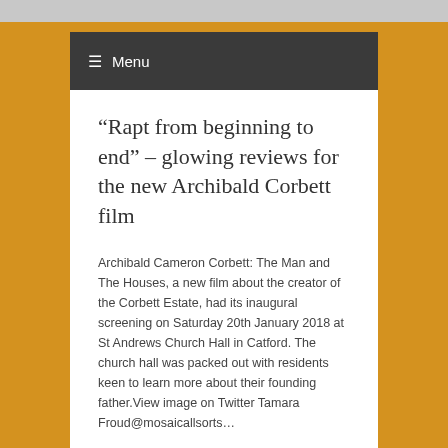≡ Menu
“Rapt from beginning to end” – glowing reviews for the new Archibald Corbett film
Archibald Cameron Corbett: The Man and The Houses, a new film about the creator of the Corbett Estate, had its inaugural screening on Saturday 20th January 2018 at St Andrews Church Hall in Catford. The church hall was packed out with residents keen to learn more about their founding father.View image on Twitter Tamara Froud@mosaicallsorts…
21st January 2018 in Uncategorised.